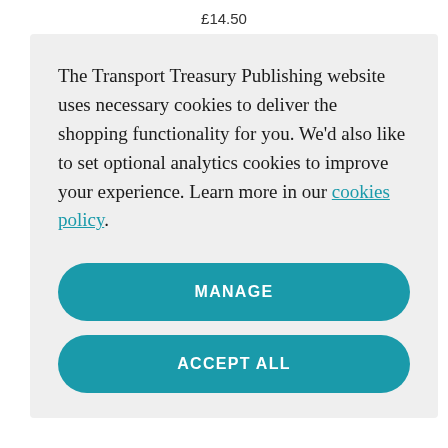£14.50
The Transport Treasury Publishing website uses necessary cookies to deliver the shopping functionality for you. We'd also like to set optional analytics cookies to improve your experience. Learn more in our cookies policy.
MANAGE
ACCEPT ALL